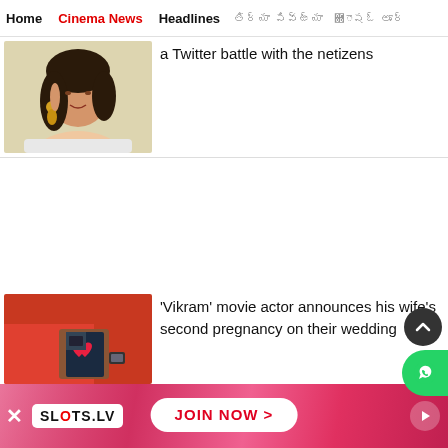Home | Cinema News | Headlines | [Tamil script] | [Tamil script]
[Figure (photo): Woman with earrings posing, beige/cream background]
a Twitter battle with the netizens
[Figure (photo): Person in red holding phone with heart emoji on screen, ultrasound visible]
'Vikram' movie actor announces his wife's second pregnancy on their wedding
[Figure (other): SLOTS.LV advertisement banner with JOIN NOW > button]